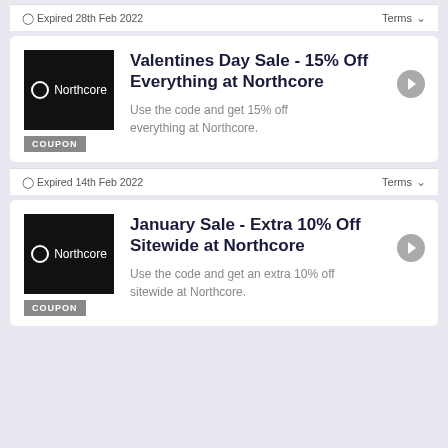🕐 Expired 28th Feb 2022
Terms ∨
Valentines Day Sale - 15% Off Everything at Northcore
Use the code and get 15% off everything at Northcore.
🕐 Expired 14th Feb 2022
Terms ∨
January Sale - Extra 10% Off Sitewide at Northcore
Use the code and get an extra 10% off sitewide at Northcore.